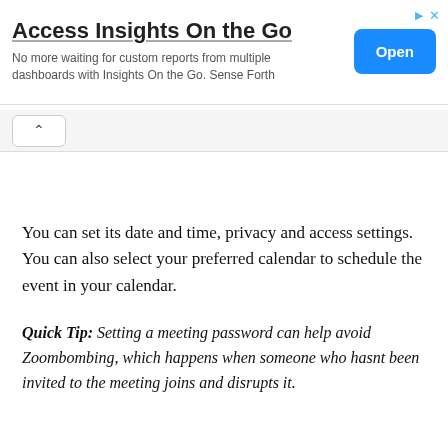[Figure (screenshot): Advertisement banner: 'Access Insights On the Go' with text 'No more waiting for custom reports from multiple dashboards with Insights On the Go. Sense Forth' and a blue 'Open' button. Ad icons (triangle and X) in top right.]
[Figure (screenshot): Navigation bar showing a chevron/up-arrow button on a light gray background tab.]
You can set its date and time, privacy and access settings. You can also select your preferred calendar to schedule the event in your calendar.
Quick Tip: Setting a meeting password can help avoid Zoombombing, which happens when someone who hasnt been invited to the meeting joins and disrupts it.